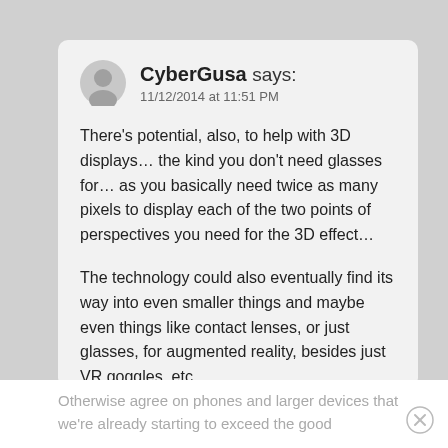[Figure (illustration): User avatar icon (grey silhouette of a person)]
CyberGusa says:
11/12/2014 at 11:51 PM
There's potential, also, to help with 3D displays… the kind you don't need glasses for… as you basically need twice as many pixels to display each of the two points of perspectives you need for the 3D effect…
The technology could also eventually find its way into even smaller things and maybe even things like contact lenses, or just glasses, for augmented reality, besides just VR goggles, etc…
Otherwise agree on phones and larger devices that we're already starting to exceed the good